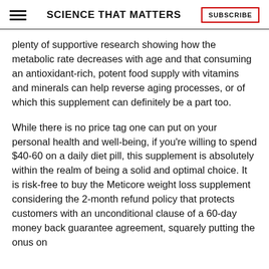SCIENCE THAT MATTERS | SUBSCRIBE
plenty of supportive research showing how the metabolic rate decreases with age and that consuming an antioxidant-rich, potent food supply with vitamins and minerals can help reverse aging processes, or of which this supplement can definitely be a part too.
While there is no price tag one can put on your personal health and well-being, if you're willing to spend $40-60 on a daily diet pill, this supplement is absolutely within the realm of being a solid and optimal choice. It is risk-free to buy the Meticore weight loss supplement considering the 2-month refund policy that protects customers with an unconditional clause of a 60-day money back guarantee agreement, squarely putting the onus on the health metabolism boosting formula to actually...